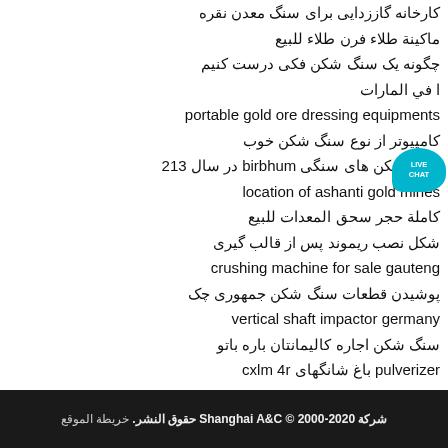کارخانه گاززدایی برای سنگ معدن نقره
ماکینة طلاء فرن طلاء للبیع
چگونه یک سنگ شکن فکی درست کنیم
ا في المارات
portable gold ore dressing equipments
کامپیوتر از نوع سنگ شکن خوب
سنگ شکن های سنگی birbhum در سال 213
location of ashanti gold mines
کاملة حجر سحق المعدات للبيع
شکل نصب ریموند پس از قالب گیری
crushing machine for sale gauteng
پوشیدن قطعات سنگ شکن جمهوری چک
vertical shaft impactor germany
سنگ شکن اجاره کالیمانتان باره باتو
pulverizer باغ شانگهای cxlm 4r
الکترو مغناطیس سنگ شکن
iron ore extraction machinery quotation
ماكنة القطع الحديد قطر 6 الى 12
شرکة Shanghai A&C © 2000-2020 حقوق النشر. خریطة الموقع